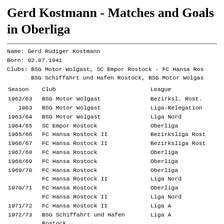Gerd Kostmann - Matches and Goals in Oberliga
Name: Gerd Rüdiger Kostmann
Born: 02.07.1941
Clubs: BSG Motor Wolgast, SC Empor Rostock - FC Hansa Ros...
       BSG Schiffahrt und Hafen Rostock, BSG Motor Wolgas...
| Season | Club | League |
| --- | --- | --- |
| 1962/63 | BSG Motor Wolgast | Bezirksl. Rost. |
|    1963 | BSG Motor Wolgast | Liga-Relegation |
| 1963/64 | BSG Motor Wolgast | Liga Nord |
| 1964/65 | SC Empor Rostock | Oberliga |
| 1965/66 | FC Hansa Rostock II | Bezirksliga Rost |
| 1966/67 | FC Hansa Rostock II | Bezirksliga Rost |
| 1967/68 | FC Hansa Rostock | Oberliga |
| 1968/69 | FC Hansa Rostock | Oberliga |
| 1969/70 | FC Hansa Rostock | Oberliga |
|  | FC Hansa Rostock II | Liga Nord |
| 1970/71 | FC Hansa Rostock | Oberliga |
|  | FC Hansa Rostock II | Liga Nord |
| 1971/72 | FC Hansa Rostock II | Liga A |
| 1972/73 | BSG Schiffahrt und Hafen Rostock | Liga A |
| 1973/74 | BSG Schiffahrt und Hafen Rostock | Liga A |
| 1974/75 | BSG Schiffahrt und Hafen Rostock | Liga A |
| 1977/78 | BSG Motor Wolgast | Liga A |